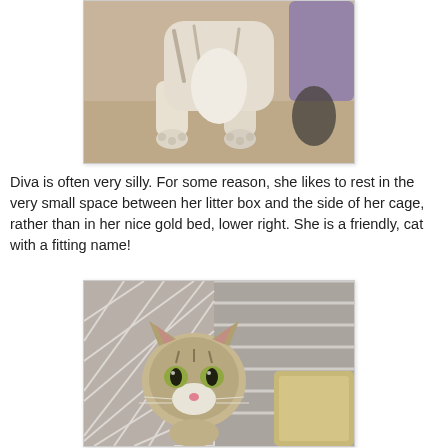[Figure (photo): Sepia-toned photo of a tabby and white cat standing, showing its body from chest down, with paws visible on carpet. A purple object and dark object are in the background.]
Diva is often very silly. For some reason, she likes to rest in the very small space between her litter box and the side of her cage, rather than in her nice gold bed, lower right. She is a friendly, cat with a fitting name!
[Figure (photo): Color photo of a tabby kitten with green eyes peering through the bars/door of a cage. A tan/beige litter box or container is visible to the right inside the cage.]